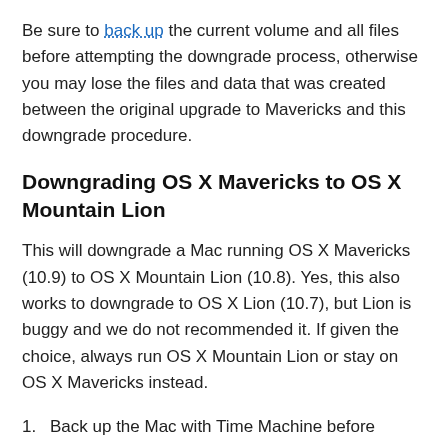Be sure to back up the current volume and all files before attempting the downgrade process, otherwise you may lose the files and data that was created between the original upgrade to Mavericks and this downgrade procedure.
Downgrading OS X Mavericks to OS X Mountain Lion
This will downgrade a Mac running OS X Mavericks (10.9) to OS X Mountain Lion (10.8). Yes, this also works to downgrade to OS X Lion (10.7), but Lion is buggy and we do not recommended it. If given the choice, always run OS X Mountain Lion or stay on OS X Mavericks instead.
1. Back up the Mac with Time Machine before